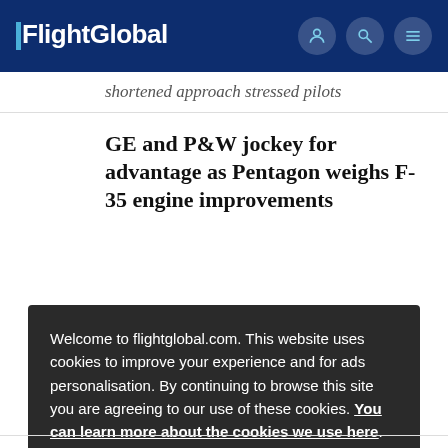FlightGlobal
shortened approach stressed pilots
GE and P&W jockey for advantage as Pentagon weighs F-35 engine improvements
Welcome to flightglobal.com. This website uses cookies to improve your experience and for ads personalisation. By continuing to browse this site you are agreeing to our use of these cookies. You can learn more about the cookies we use here.
OK